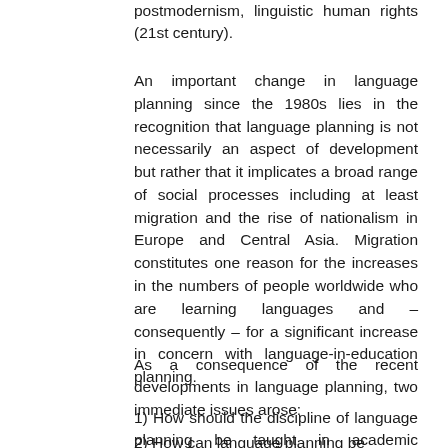postmodernism, linguistic human rights (21st century).
An important change in language planning since the 1980s lies in the recognition that language planning is not necessarily an aspect of development but rather that it implicates a broad range of social processes including at least migration and the rise of nationalism in Europe and Central Asia. Migration constitutes one reason for the increases in the numbers of people worldwide who are learning languages and – consequently – for a significant increase in concern with language-in-education planning.
As a consequence of the recent developments in language planning, two immediate issues arose:
1) How should the discipline of language planning be taught in academic institutions? and
2) How can language planning be